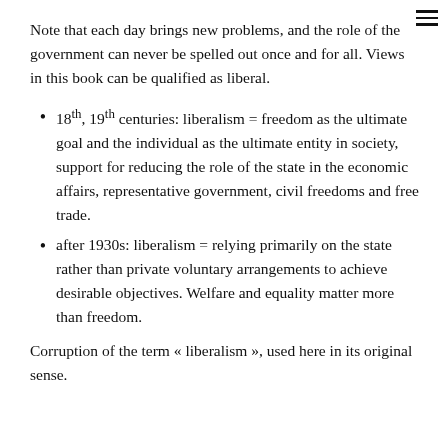Note that each day brings new problems, and the role of the government can never be spelled out once and for all. Views in this book can be qualified as liberal.
18th, 19th centuries: liberalism = freedom as the ultimate goal and the individual as the ultimate entity in society, support for reducing the role of the state in the economic affairs, representative government, civil freedoms and free trade.
after 1930s: liberalism = relying primarily on the state rather than private voluntary arrangements to achieve desirable objectives. Welfare and equality matter more than freedom.
Corruption of the term « liberalism », used here in its original sense.